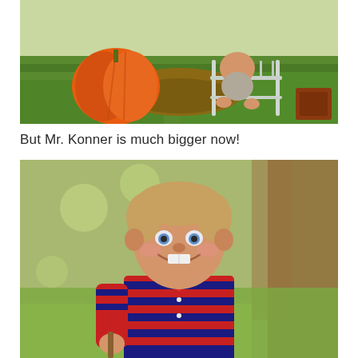[Figure (photo): Baby sitting outdoors next to a large orange pumpkin on green grass, with a white decorative metal chair/bench visible, baby's bare feet visible]
But Mr. Konner is much bigger now!
[Figure (photo): Young smiling boy with short light brown hair wearing a red and navy blue striped polo shirt, holding a stick or small object, outdoors with green and brown blurred background]